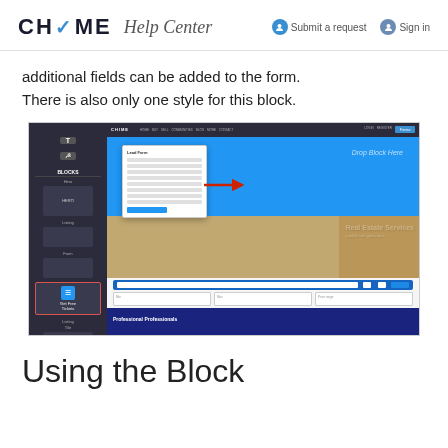CHIME Help Center
additional fields can be added to the form. There is also only one style for this block.
[Figure (screenshot): Screenshot of the Chime website builder interface showing the Blocks panel on the left with 'Get Free Tickets' block highlighted in red, a drag block overlay on the preview, and a real estate website preview with blue header, form popup, building image, and agent section.]
Using the Block